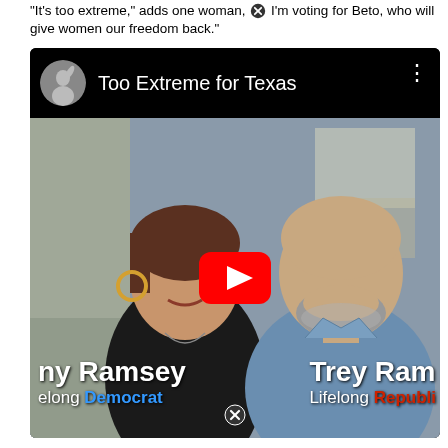"It's too extreme," adds one woman, ✕ I'm voting for Beto, who will give women our freedom back."
[Figure (screenshot): YouTube video thumbnail titled 'Too Extreme for Texas' showing a woman and man (Amy Ramsey, Lifelong Democrat; Trey Ramsey, Lifelong Republican) with a YouTube play button overlay in the center. The video header shows a channel avatar image and three-dot menu. The names and party affiliations are overlaid at the bottom of the video thumbnail.]